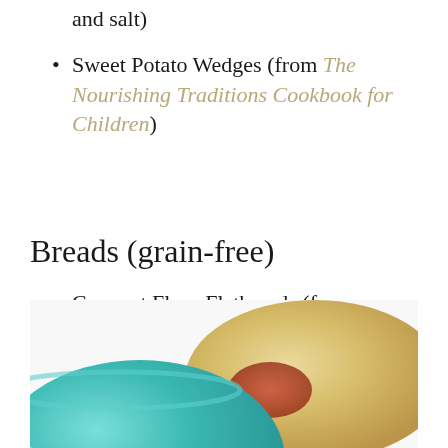and salt)
Sweet Potato Wedges (from The Nourishing Traditions Cookbook for Children)
Breads (grain-free)
Coconut Flour Flatbreads (from Nourishing Meals)
[Figure (photo): A teal/turquoise bowl next to what appears to be a coconut flour flatbread on a plate, photographed from above at close range]